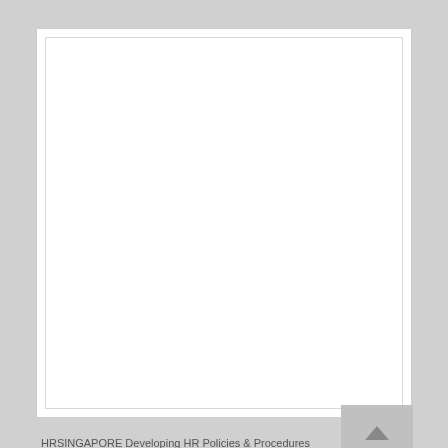[Figure (other): Blank white page with inner border frame, representing an empty document page from HRSINGAPORE Developing HR Policies & Procedures]
HRSINGAPORE Developing HR Policies & Procedures